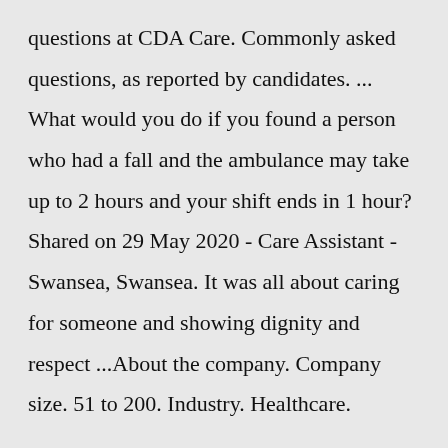questions at CDA Care. Commonly asked questions, as reported by candidates. ... What would you do if you found a person who had a fall and the ambulance may take up to 2 hours and your shift ends in 1 hour? Shared on 29 May 2020 - Care Assistant - Swansea, Swansea. It was all about caring for someone and showing dignity and respect ...About the company. Company size. 51 to 200. Industry. Healthcare.